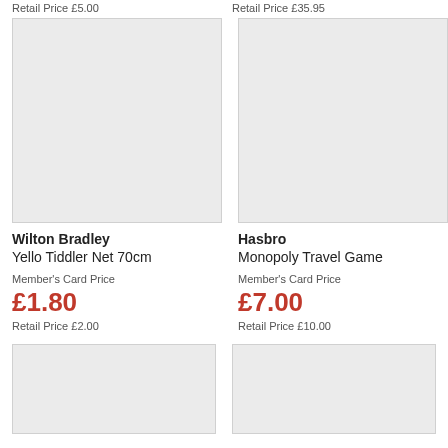Retail Price £5.00
Retail Price £35.95
[Figure (photo): Product image placeholder for Wilton Bradley Yello Tiddler Net 70cm]
[Figure (photo): Product image placeholder for Hasbro Monopoly Travel Game]
Wilton Bradley
Yello Tiddler Net 70cm
Member's Card Price
£1.80
Retail Price £2.00
Hasbro
Monopoly Travel Game
Member's Card Price
£7.00
Retail Price £10.00
[Figure (photo): Product image placeholder bottom left]
[Figure (photo): Product image placeholder bottom right]